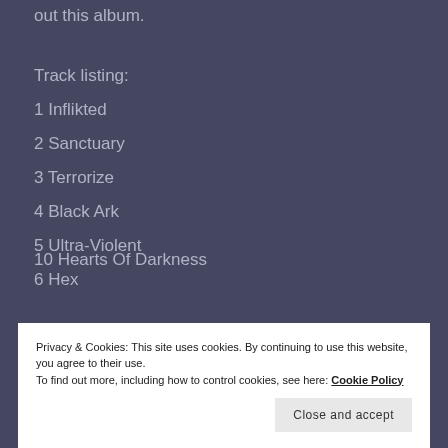out this album.
Track listing:
1 Inflikted
2 Sanctuary
3 Terrorize
4 Black Ark
5 Ultra-Violent
6 Hex
Privacy & Cookies: This site uses cookies. By continuing to use this website, you agree to their use.
To find out more, including how to control cookies, see here: Cookie Policy
Close and accept
10 Hearts Of Darkness